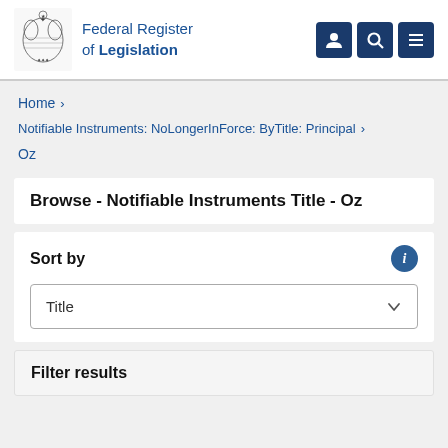Federal Register of Legislation
Home >
Notifiable Instruments: NoLongerInForce: ByTitle: Principal >
Oz
Browse - Notifiable Instruments Title - Oz
Sort by
Title
Filter results